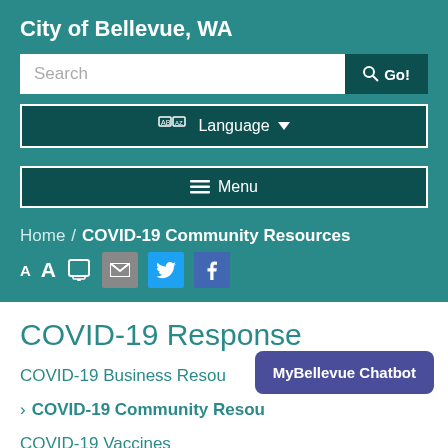City of Bellevue, WA
Search
Go!
Language
Menu
Home / COVID-19 Community Resources
[Figure (screenshot): Toolbar with font size controls (A A), print icon, email icon, Twitter icon, Facebook icon]
COVID-19 Response
COVID-19 Business Resources
COVID-19 Community Resources
COVID-19 Vaccines
MyBellevue Chatbot